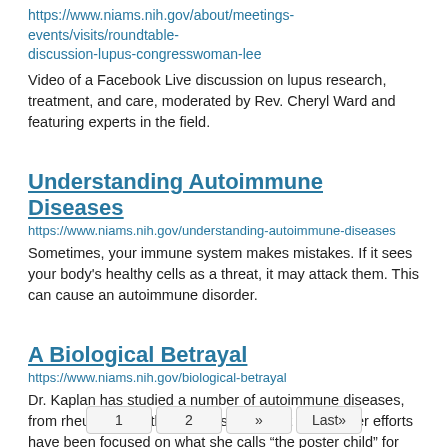https://www.niams.nih.gov/about/meetings-events/visits/roundtable-discussion-lupus-congresswoman-lee
Video of a Facebook Live discussion on lupus research, treatment, and care, moderated by Rev. Cheryl Ward and featuring experts in the field.
Understanding Autoimmune Diseases
https://www.niams.nih.gov/understanding-autoimmune-diseases
Sometimes, your immune system makes mistakes. If it sees your body's healthy cells as a threat, it may attack them. This can cause an autoimmune disorder.
A Biological Betrayal
https://www.niams.nih.gov/biological-betrayal
Dr. Kaplan has studied a number of autoimmune diseases, from rheumatoid arthritis to vasculitis, but most of her efforts have been focused on what she calls “the poster child” for autoimmune diseases: systemic lupus erythematosus (SLE), more commonly referred to as ‘lupus.’
1  2  »  Last»